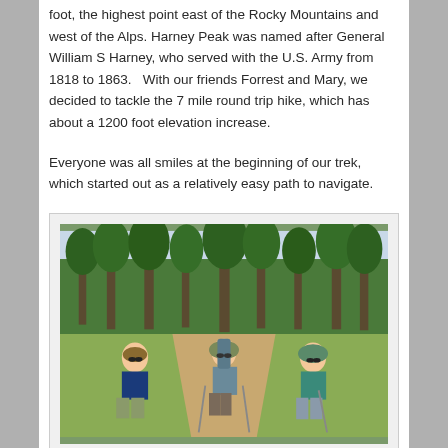foot, the highest point east of the Rocky Mountains and west of the Alps. Harney Peak was named after General William S Harney, who served with the U.S. Army from 1818 to 1863.   With our friends Forrest and Mary, we decided to tackle the 7 mile round trip hike, which has about a 1200 foot elevation increase.
Everyone was all smiles at the beginning of our trek, which started out as a relatively easy path to navigate.
[Figure (photo): Three hikers standing on a dirt trail surrounded by pine trees and green grass. The person on the left wears a navy blue t-shirt, sunglasses, and a cap. The person in the middle wears a wide-brimmed hat and carries trekking poles and a backpack. The person on the right wears a teal shirt, a bucket hat, and sunglasses.]